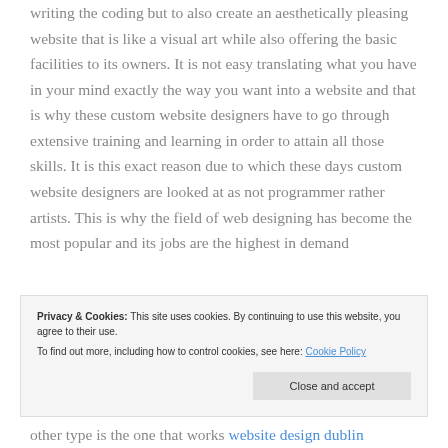writing the coding but to also create an aesthetically pleasing website that is like a visual art while also offering the basic facilities to its owners. It is not easy translating what you have in your mind exactly the way you want into a website and that is why these custom website designers have to go through extensive training and learning in order to attain all those skills. It is this exact reason due to which these days custom website designers are looked at as not programmer rather artists. This is why the field of web designing has become the most popular and its jobs are the highest in demand
Privacy & Cookies: This site uses cookies. By continuing to use this website, you agree to their use. To find out more, including how to control cookies, see here: Cookie Policy
other type is the one that works website design dublin